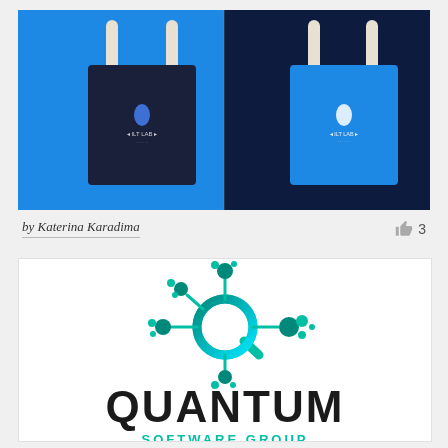[Figure (photo): Two tote bags side by side: left bag is dark navy on a blue background, right bag is bright blue on a dark navy background. Both bags have white handles and a small logo reading 'ILT LAB' with a blue droplet icon.]
by Katerina Karadima
[Figure (logo): Quantum Software Group logo: teal molecule/atom graphic above bold black text reading 'QUANTUM' and partially visible 'SOFTWARE GROUP' in teal below.]